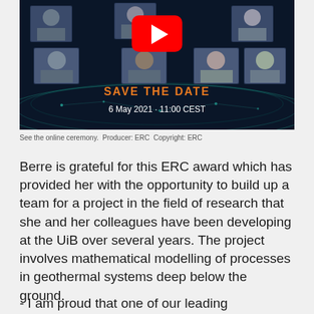[Figure (screenshot): YouTube thumbnail of an ERC online ceremony event showing a dark blue background with a network/tech pattern, multiple speaker headshots arranged around a YouTube play button, orange text reading 'SAVE THE DATE', and white text '6 May 2021 · 11:00 CEST']
See the online ceremony.  Producer: ERC  Copyright: ERC
Berre is grateful for this ERC award which has provided her with the opportunity to build up a team for a project in the field of research that she and her colleagues have been developing at the UiB over several years. The project involves mathematical modelling of processes in geothermal systems deep below the ground.
- I am proud that one of our leading researchers is